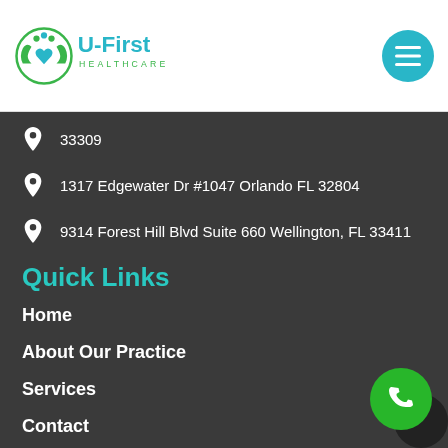[Figure (logo): U-First Healthcare logo with circular icon showing hands and heart, teal and green colors]
33309
1317 Edgewater Dr #1047 Orlando FL 32804
9314 Forest Hill Blvd Suite 660 Wellington, FL 33411
Quick Links
Home
About Our Practice
Services
Contact
Book Now